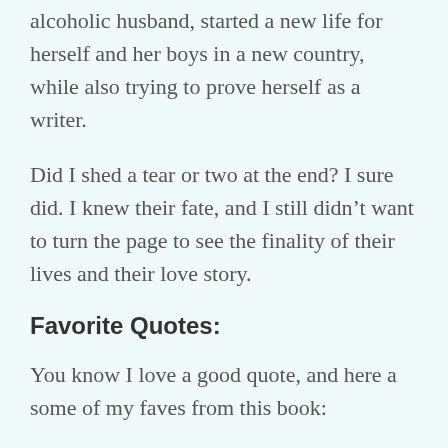alcoholic husband, started a new life for herself and her boys in a new country, while also trying to prove herself as a writer.
Did I shed a tear or two at the end? I sure did. I knew their fate, and I still didn't want to turn the page to see the finality of their lives and their love story.
Favorite Quotes:
You know I love a good quote, and here a some of my faves from this book:
“See?” I lifted my glass. “We’re connected everywhere. Even before we met, we were all of us tied together with these funny little threads. I love those small hints that